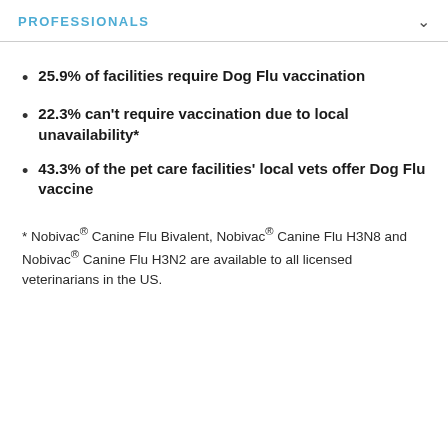PROFESSIONALS
25.9% of facilities require Dog Flu vaccination
22.3% can't require vaccination due to local unavailability*
43.3% of the pet care facilities' local vets offer Dog Flu vaccine
* Nobivac® Canine Flu Bivalent, Nobivac® Canine Flu H3N8 and Nobivac® Canine Flu H3N2 are available to all licensed veterinarians in the US.